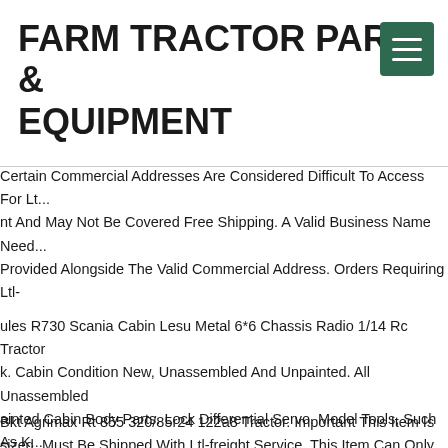FARM TRACTOR PARTS & EQUIPMENT
Certain Commercial Addresses Are Considered Difficult To Access For Lt... nt And May Not Be Covered Free Shipping. A Valid Business Name Need... Provided Alongside The Valid Commercial Address. Orders Requiring Ltl-... nt Shipping Will Be Shipped Out Within 3 Business Days After A Valid ... ess Has Been Provided And Verified. Ltl-freight Delivery Personnel Are N... able For Additional Requests During Delivery. Any Changes After An Ord... Been Shipped Are Not Available. For More Information, Please Click On... w More".
ules R730 Scania Cabin Lesu Metal 6*6 Chassis Radio 1/14 Rc Tractor ... k. Cabin Condition New, Unassembled And Unpainted. All Unassembled ... ainted Cabin Body Parts. Lock Differential Servo. Model Tools, Such As K... er, Driller, Power Glue, Grease Lubrication(not Liquid Lube).
Bkt Agrimax Rt 855 320/85r24 122a8 Tractor. Important This Item Is ... sized. Must Be Shipped With Ltl-freight Service. This Item Can Only Be ... ered To Addresses Within Commercial Or Industrial Areas. This Item...